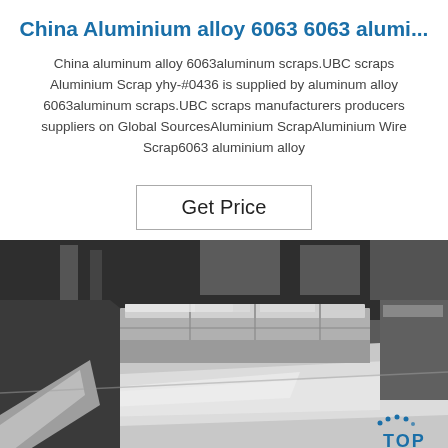China Aluminium alloy 6063 6063 alumi...
China aluminum alloy 6063aluminum scraps.UBC scraps Aluminium Scrap yhy-#0436 is supplied by aluminum alloy 6063aluminum scraps.UBC scraps manufacturers producers suppliers on Global SourcesAluminium ScrapAluminium Wire Scrap6063 aluminium alloy
Get Price
[Figure (photo): Industrial warehouse or factory floor with large shiny aluminium sheets/billets stacked on a surface, with metallic reflective surfaces visible. A blue TOP logo watermark appears in the bottom right corner.]